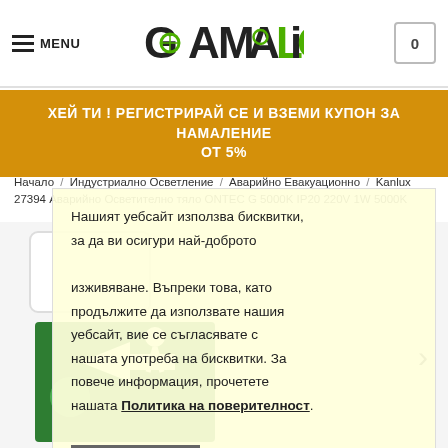MENU | GAMALIGHT | 0
ХЕЙ ТИ ! РЕГИСТРИРАЙ СЕ И ВЗЕМИ КУПОН ЗА НАМАЛЕНИЕ ОТ 5%
Начало / Индустриално Осветление / Аварийно Евакуационно / Kanlux / 27394 Аварийно Осветително тяло ONTEC G 5000K IP20 220V 1W 5000K
[Figure (photo): Product photo of Kanlux emergency lighting fixture with green exit sign, overlaid with cookie consent popup]
Нашият уебсайт използва бисквитки, за да ви осигури най-доброто изживяване. Въпреки това, като продължите да използвате нашия уебсайт, вие се съгласявате с нашата употреба на бисквитки. За повече информация, прочетете нашата Политика на поверителност.
Приемам